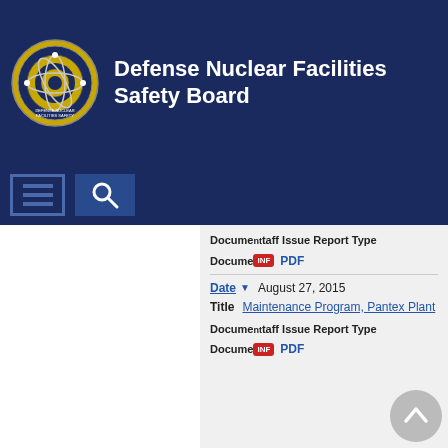Defense Nuclear Facilities Safety Board
Document Type: Staff Issue Report Type
Document: INF PDF
Date: August 27, 2015
Title: Maintenance Program, Pantex Plant
Document Type: Staff Issue Report Type
Document: INF PDF